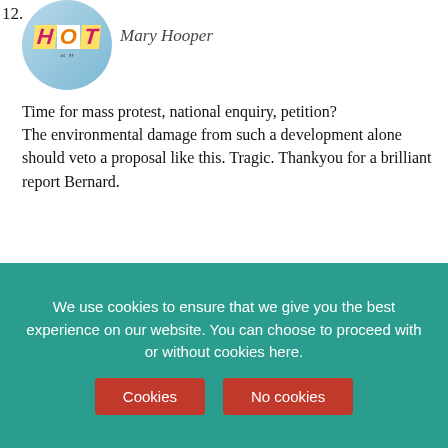12.
[Figure (logo): HOT (Heads of the Valleys) circular logo with quote marks, light blue background]
Mary Hooper
Time for mass protest, national enquiry, petition? The environmental damage from such a development alone should veto a proposal like this. Tragic. Thankyou for a brilliant report Bernard.
Comment by Mary Hooper — Monday, Nov 11, 2019 @ 09:21
13.
[Figure (logo): HOT (Heads of the Valleys) circular logo with quote marks, light blue background]
Kendal
this is a prime example of how local council and councillor
More HOT Stuff
We use cookies to ensure that we give you the best experience on our website. You can choose to proceed with or without cookies here.